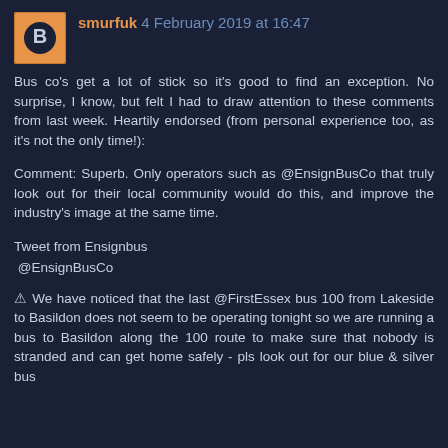smurfuk 4 February 2019 at 16:47
Bus co's get a lot of stick so it's good to find an exception. No surprise, I know, but felt I had to draw attention to these comments from last week. Heartily endorsed (from personal experience too, as it's not the only time!):
Comment: Superb. Only operators such as @EnsignBusCo that truly look out for their local community would do this, and improve the industry's image at the same time.
Tweet from Ensignbus
 @EnsignBusCo
⚠ We have noticed that the last @FirstEssex bus 100 from Lakeside to Basildon does not seem to be operating tonight so we are running a bus to Basildon along the 100 route to make sure that nobody is stranded and can get home safely - pls look out for our blue & silver bus